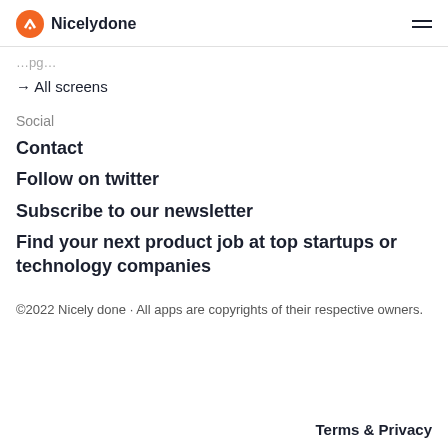Nicelydone
→ All screens
Social
Contact
Follow on twitter
Subscribe to our newsletter
Find your next product job at top startups or technology companies
©2022 Nicely done · All apps are copyrights of their respective owners.
Terms & Privacy